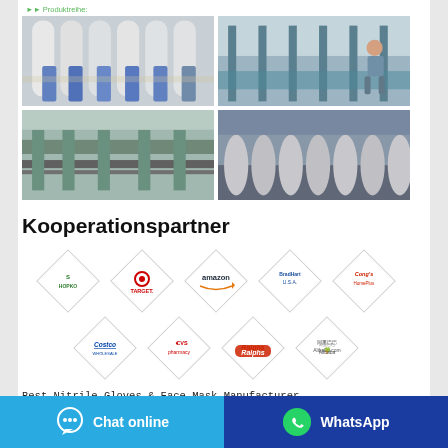Produktreihe:
[Figure (photo): Four manufacturing photos arranged in a 2x2 grid showing nitrile glove production: gloves on molds, factory floor with worker, conveyor belt machinery, and drum/roller production equipment.]
Kooperationspartner
[Figure (infographic): Diamond-shaped logo tiles arranged in two rows showing partner brands: Shopko, Target, Amazon, BradHart U.S.A., Cong's HomePlus, Costco, CVS pharmacy, Ralphs, Alibaba.com]
Best Nitrile Gloves & Face Mask Manufacturer -
Chat online
WhatsApp